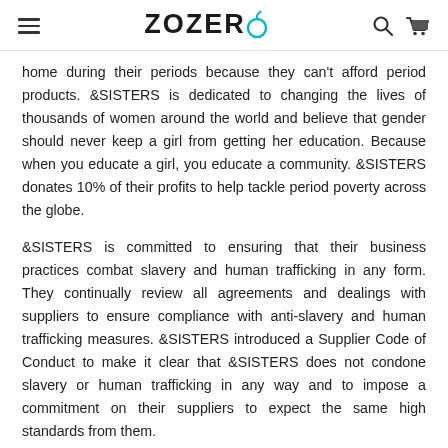ZOZERO
home during their periods because they can't afford period products. &SISTERS is dedicated to changing the lives of thousands of women around the world and believe that gender should never keep a girl from getting her education. Because when you educate a girl, you educate a community. &SISTERS donates 10% of their profits to help tackle period poverty across the globe.
&SISTERS is committed to ensuring that their business practices combat slavery and human trafficking in any form. They continually review all agreements and dealings with suppliers to ensure compliance with anti-slavery and human trafficking measures. &SISTERS introduced a Supplier Code of Conduct to make it clear that &SISTERS does not condone slavery or human trafficking in any way and to impose a commitment on their suppliers to expect the same high standards from them.